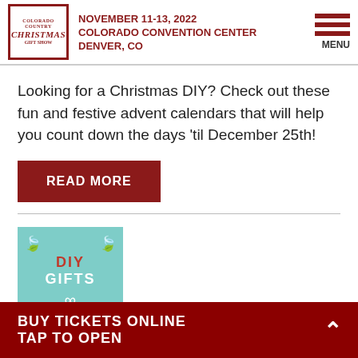NOVEMBER 11-13, 2022 COLORADO CONVENTION CENTER DENVER, CO
Looking for a Christmas DIY? Check out these fun and festive advent calendars that will help you count down the days 'til December 25th!
READ MORE
[Figure (illustration): DIY Gifts card with teal background, holly leaves, red DIY text and white GIFTS text with bow]
BUY TICKETS ONLINE TAP TO OPEN